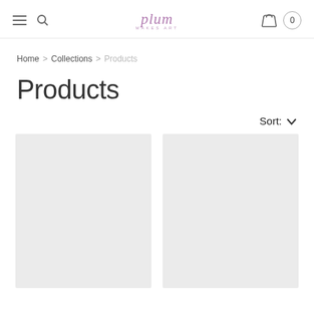plum — navigation header with hamburger menu, search, logo, cart icon, cart count 0
Home > Collections > Products
Products
Sort:
[Figure (other): Two product placeholder image cards shown in a two-column grid layout, both with light grey background and no product images loaded yet.]